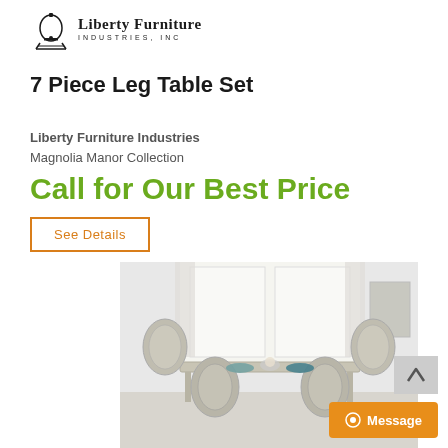[Figure (logo): Liberty Furniture Industries, Inc. logo with bell icon and text]
7 Piece Leg Table Set
Liberty Furniture Industries
Magnolia Manor Collection
Call for Our Best Price
See Details
[Figure (photo): Photo of a 7-piece dining table set with ornate silver/white chairs and a rectangular table in a bright room with white curtains]